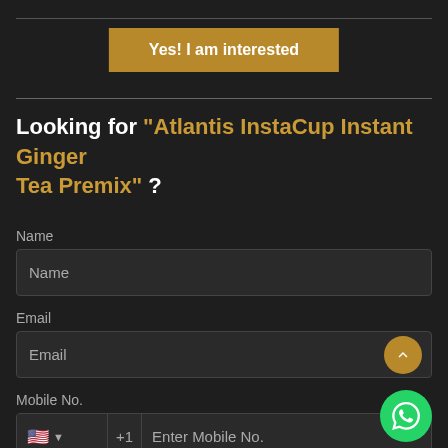Yes! I am interested
Looking for "Atlantis InstaCup Instant Ginger Tea Premix" ?
Name
Email
Mobile No.
Enter Mobile No.
Quantity